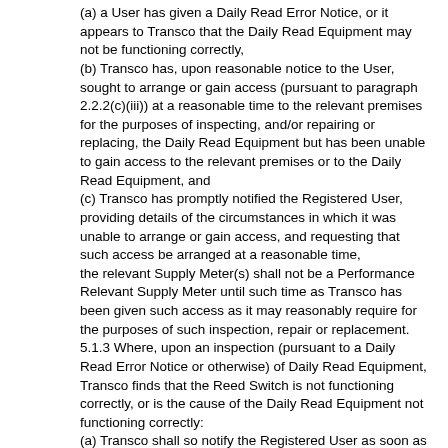(a) a User has given a Daily Read Error Notice, or it appears to Transco that the Daily Read Equipment may not be functioning correctly,
(b) Transco has, upon reasonable notice to the User, sought to arrange or gain access (pursuant to paragraph 2.2.2(c)(iii)) at a reasonable time to the relevant premises for the purposes of inspecting, and/or repairing or replacing, the Daily Read Equipment but has been unable to gain access to the relevant premises or to the Daily Read Equipment, and
(c) Transco has promptly notified the Registered User, providing details of the circumstances in which it was unable to arrange or gain access, and requesting that such access be arranged at a reasonable time,
the relevant Supply Meter(s) shall not be a Performance Relevant Supply Meter until such time as Transco has been given such access as it may reasonably require for the purposes of such inspection, repair or replacement.
5.1.3 Where, upon an inspection (pursuant to a Daily Read Error Notice or otherwise) of Daily Read Equipment, Transco finds that the Reed Switch is not functioning correctly, or is the cause of the Daily Read Equipment not functioning correctly:
(a) Transco shall so notify the Registered User as soon as reasonably practicable after its inspection;
(b) Transco will:
(i) take reasonable steps to arrange for a gas motor examiner to attend (so soon as such a